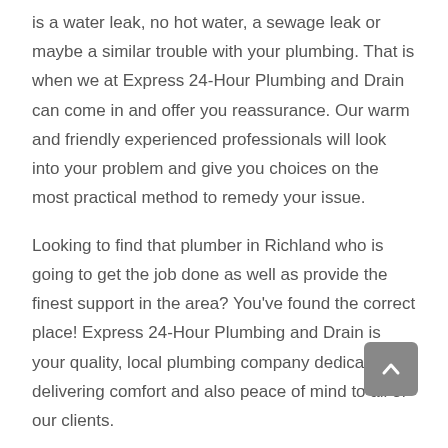is a water leak, no hot water, a sewage leak or maybe a similar trouble with your plumbing. That is when we at Express 24-Hour Plumbing and Drain can come in and offer you reassurance. Our warm and friendly experienced professionals will look into your problem and give you choices on the most practical method to remedy your issue.
Looking to find that plumber in Richland who is going to get the job done as well as provide the finest support in the area? You've found the correct place! Express 24-Hour Plumbing and Drain is your quality, local plumbing company dedicated in delivering comfort and also peace of mind to all of our clients.